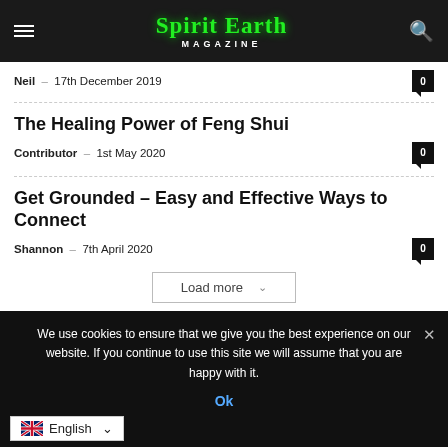Spirit Earth MAGAZINE
Neil – 17th December 2019
The Healing Power of Feng Shui
Contributor – 1st May 2020
Get Grounded – Easy and Effective Ways to Connect
Shannon – 7th April 2020
Load more
We use cookies to ensure that we give you the best experience on our website. If you continue to use this site we will assume that you are happy with it.
Ok
English